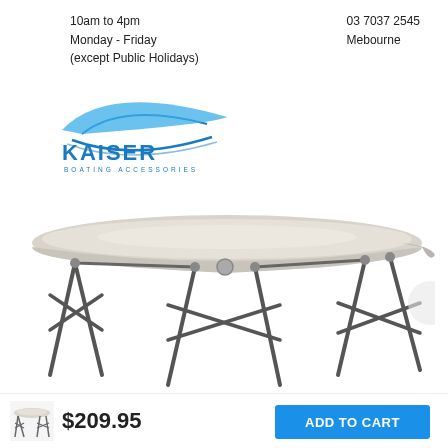10am to 4pm
Monday - Friday
(except Public Holidays)
03 7037 2545
Mebourne
[Figure (logo): Kaiser Boating Accessories logo with blue stylized boat/wave graphic and text 'KAISER' in blue bold letters, subtitle 'BOATING ACCESSORIES']
[Figure (photo): Product photo of a grey/white bimini top boat canopy with silver/dark metal folding frame legs, shown free-standing on white background]
[Figure (photo): Small thumbnail image of the bimini top product]
$209.95
ADD TO CART